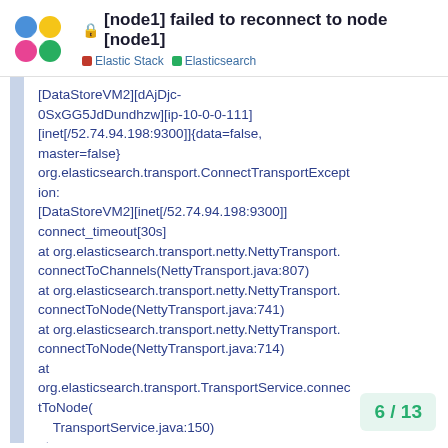[node1] failed to reconnect to node [node1]
Elastic Stack  Elasticsearch
[DataStoreVM2][dAjDjc-0SxGG5JdDundhzw][ip-10-0-0-111][inet[/52.74.94.198:9300]]{data=false, master=false}
org.elasticsearch.transport.ConnectTransportException: [DataStoreVM2][inet[/52.74.94.198:9300]] connect_timeout[30s]
at org.elasticsearch.transport.netty.NettyTransport.connectToChannels(NettyTransport.java:807)
at org.elasticsearch.transport.netty.NettyTransport.connectToNode(NettyTransport.java:741)
at org.elasticsearch.transport.netty.NettyTransport.connectToNode(NettyTransport.java:714)
at
org.elasticsearch.transport.TransportService.connectToNode(
TransportService.java:150)
at